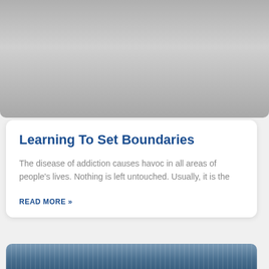[Figure (photo): Gray gradient background image area at top of card]
Learning To Set Boundaries
The disease of addiction causes havoc in all areas of people's lives. Nothing is left untouched.  Usually, it is the
READ MORE »
[Figure (photo): Partial blue-toned image at bottom of page, partially cropped]